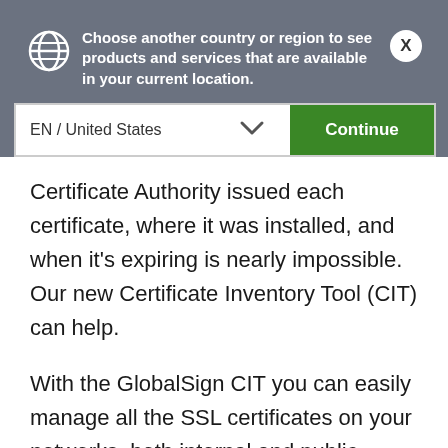Choose another country or region to see products and services that are available in your current location.
EN / United States
Continue
Certificate Authority issued each certificate, where it was installed, and when it's expiring is nearly impossible. Our new Certificate Inventory Tool (CIT) can help.
With the GlobalSign CIT you can easily manage all the SSL certificates on your networks, both internal and public-facing, regardless of the issuing CA. From one, easy-to-use portal, you can run reports on the status of existing certificates, as well as view the certificate